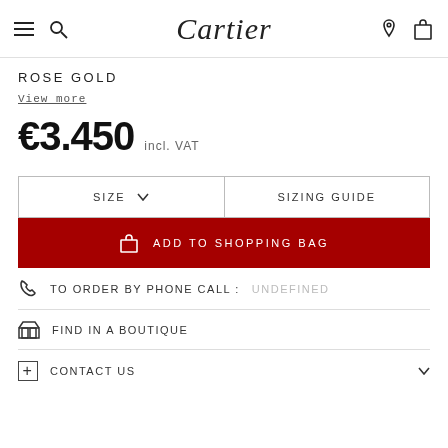Cartier
ROSE GOLD
View more
€3.450 incl. VAT
SIZE
SIZING GUIDE
ADD TO SHOPPING BAG
TO ORDER BY PHONE CALL : UNDEFINED
FIND IN A BOUTIQUE
CONTACT US